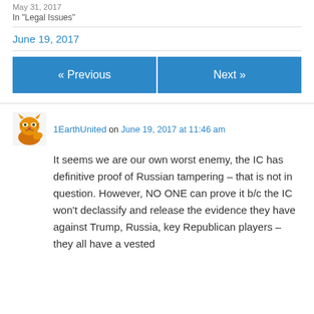May 31, 2017
In "Legal Issues"
June 19, 2017
« Previous
Next »
1EarthUnited on June 19, 2017 at 11:46 am
It seems we are our own worst enemy, the IC has definitive proof of Russian tampering – that is not in question. However, NO ONE can prove it b/c the IC won't declassify and release the evidence they have against Trump, Russia, key Republican players – they all have a vested